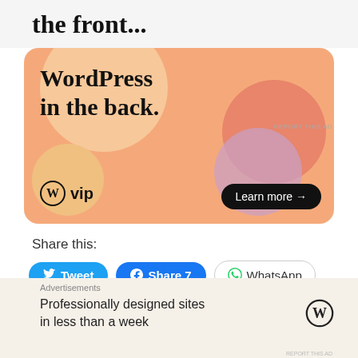the front...
[Figure (illustration): WordPress VIP advertisement banner with colorful blob shapes on orange background. Text reads 'WordPress in the back.' with WP VIP logo and 'Learn more →' button.]
REPORT THIS AD
Share this:
Tweet  Share 7  WhatsApp
Like
Advertisements
Professionally designed sites in less than a week